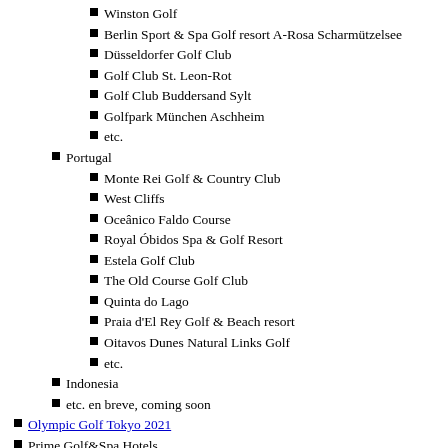Winston Golf
Berlin Sport & Spa Golf resort A-Rosa Scharmützelsee
Düsseldorfer Golf Club
Golf Club St. Leon-Rot
Golf Club Buddersand Sylt
Golfpark München Aschheim
etc.
Portugal
Monte Rei Golf & Country Club
West Cliffs
Oceânico Faldo Course
Royal Óbidos Spa & Golf Resort
Estela Golf Club
The Old Course Golf Club
Quinta do Lago
Praia d'El Rey Golf & Beach resort
Oitavos Dunes Natural Links Golf
etc.
Indonesia
etc. en breve, coming soon
Olympic Golf Tokyo 2021
Prime Golf&Spa Hotels
VILLAS, prime Golf Real Estate and Properties
Kite surf experience & holidays (en breve - coming